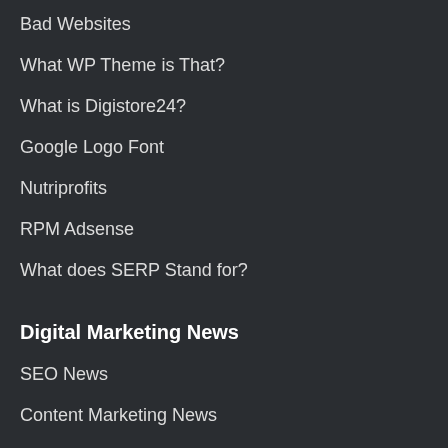Bad Websites
What WP Theme is That?
What is Digistore24?
Google Logo Font
Nutriprofits
RPM Adsense
What does SERP Stand for?
Digital Marketing News
SEO News
Content Marketing News
Ecommerce News